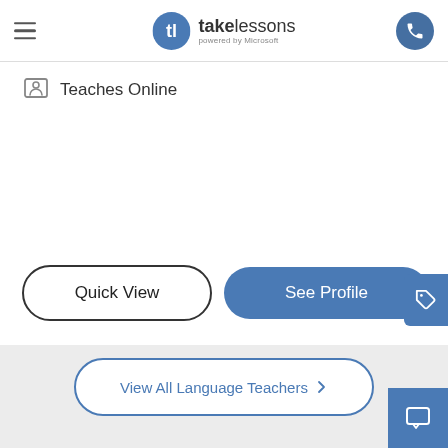takelessons powered by Microsoft
Teaches Online
Quick View
See Profile
View All Language Teachers